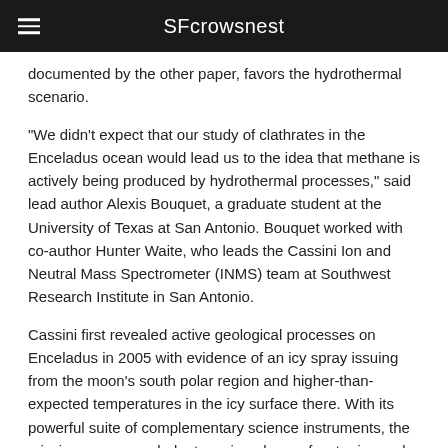SFcrowsnest
documented by the other paper, favors the hydrothermal scenario.
“We didn’t expect that our study of clathrates in the Enceladus ocean would lead us to the idea that methane is actively being produced by hydrothermal processes,” said lead author Alexis Bouquet, a graduate student at the University of Texas at San Antonio. Bouquet worked with co-author Hunter Waite, who leads the Cassini Ion and Neutral Mass Spectrometer (INMS) team at Southwest Research Institute in San Antonio.
Cassini first revealed active geological processes on Enceladus in 2005 with evidence of an icy spray issuing from the moon’s south polar region and higher-than-expected temperatures in the icy surface there. With its powerful suite of complementary science instruments, the mission soon revealed a towering plume of water ice and vapor, salts and organic materials that issues from relatively warm fractures on the wrinkled surface. Gravity science results published in 2014 strongly suggested the presence of a 6-mile- (10-kilometer-) deep ocean beneath an ice shell about 19 to 25 miles (30 to 40 kilometers) thick.
Share this: